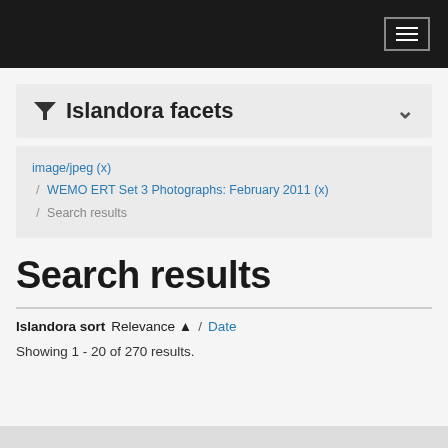Navigation header with hamburger menu
Islandora facets
image/jpeg (x) / WEMO ERT Set 3 Photographs: February 2011 (x) / Search results
Search results
Islandora sort Relevance ▲ / Date
Showing 1 - 20 of 270 results.